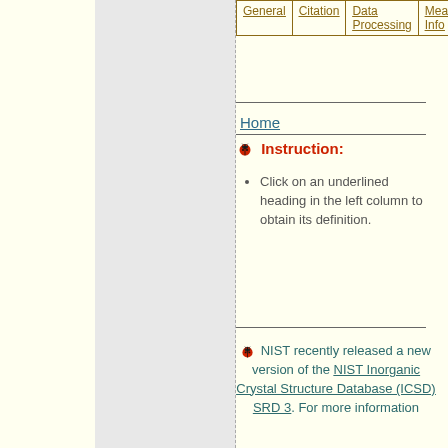| General | Citation | Data Processing | Meas. Info |
| --- | --- | --- | --- |
Home
Instruction:
Click on an underlined heading in the left column to obtain its definition.
NIST recently released a new version of the NIST Inorganic Crystal Structure Database (ICSD) SRD 3. For more information